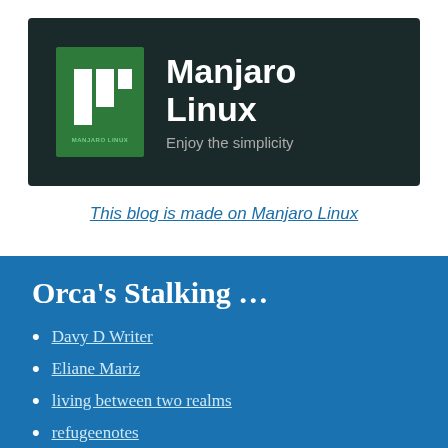[Figure (logo): Manjaro Linux logo banner with dark background, green logo icon, title 'Manjaro Linux' and subtitle 'Enjoy the simplicity']
This blog is made on Manjaro Linux
Orca's Stalking …
Davy D Writer
Eliane Mariz
living between two realms
refugeenotes
geek girl, linux land
Saint Aubrey Sailing Community
Renard's World